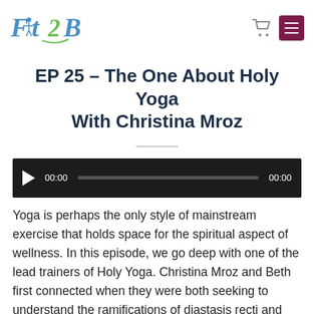[Figure (logo): Fit2B logo — stylized text with a figure and green swirl]
EP 25 – The One About Holy Yoga With Christina Mroz
[Figure (other): Audio player bar showing 00:00 timestamp, play button, and progress bar]
Yoga is perhaps the only style of mainstream exercise that holds space for the spiritual aspect of wellness. In this episode, we go deep with one of the lead trainers of Holy Yoga. Christina Mroz and Beth first connected when they were both seeking to understand the ramifications of diastasis recti and other symptoms of core dysfunction on